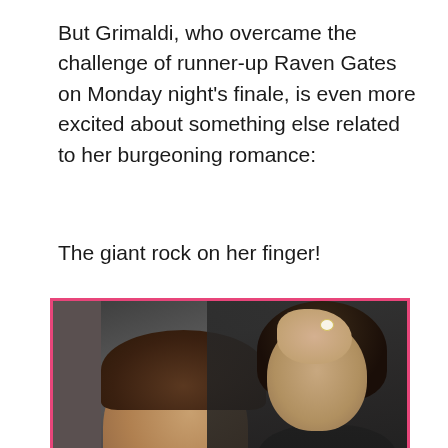But Grimaldi, who overcame the challenge of runner-up Raven Gates on Monday night's finale, is even more excited about something else related to her burgeoning romance:
The giant rock on her finger!
[Figure (photo): A couple posing for a photo. A man with curly brown hair is in the foreground, and a woman in a black dress is leaning on him from behind, showing her hand with a large engagement ring on her finger, her mouth open in excitement. The photo is framed with a pink border and has a heart icon button overlay.]